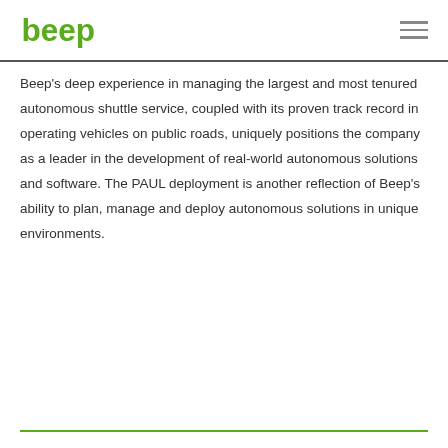beep
Beep's deep experience in managing the largest and most tenured autonomous shuttle service, coupled with its proven track record in operating vehicles on public roads, uniquely positions the company as a leader in the development of real-world autonomous solutions and software. The PAUL deployment is another reflection of Beep's ability to plan, manage and deploy autonomous solutions in unique environments.